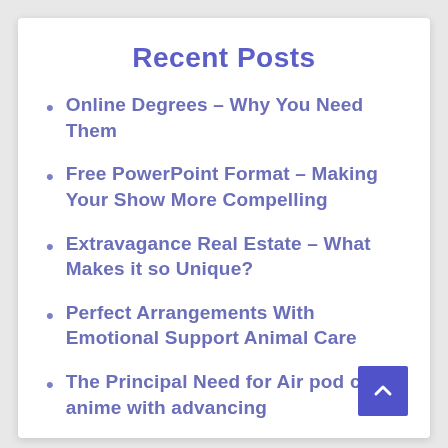Recent Posts
Online Degrees – Why You Need Them
Free PowerPoint Format – Making Your Show More Compelling
Extravagance Real Estate – What Makes it so Unique?
Perfect Arrangements With Emotional Support Animal Care
The Principal Need for Air pod case anime with advancing